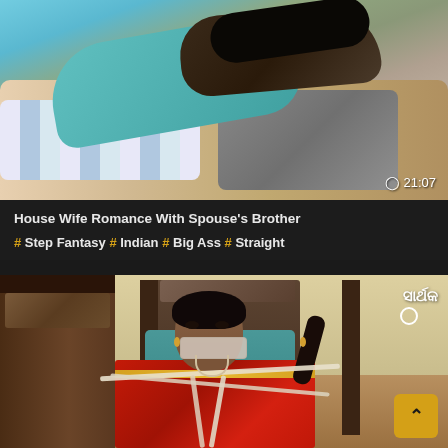[Figure (screenshot): Video thumbnail showing two people on a bed, one in blue shirt]
21:07
House Wife Romance With Spouse's Brother
# Step Fantasy # Indian # Big Ass # Straight
[Figure (screenshot): Woman in saree tied to chair with tape over mouth, from Indian TV serial. Channel logo in top right corner. Yellow scroll button bottom right.]